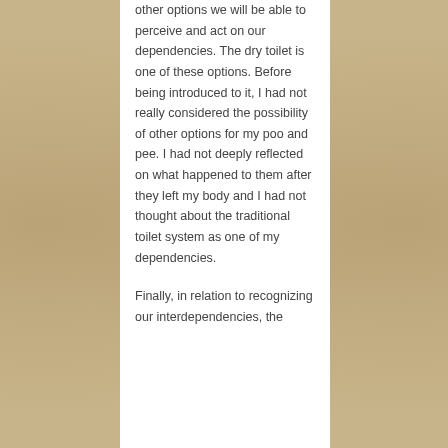other options we will be able to perceive and act on our dependencies. The dry toilet is one of these options. Before being introduced to it, I had not really considered the possibility of other options for my poo and pee. I had not deeply reflected on what happened to them after they left my body and I had not thought about the traditional toilet system as one of my dependencies.
Finally, in relation to recognizing our interdependencies, the toilet also reflects...